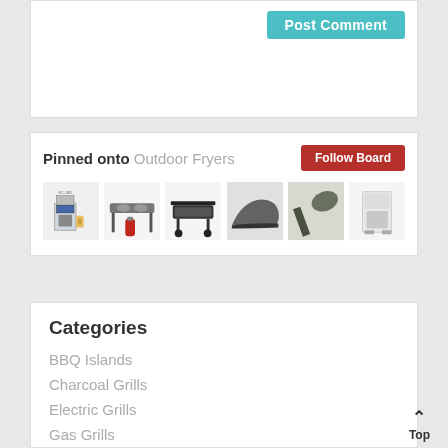Post Comment
Pinned onto Outdoor Fryers
Follow Board
[Figure (photo): Row of 6 product thumbnail images of outdoor fryers and related equipment]
Categories
BBQ Islands
Charcoal Grills
Electric Grills
Gas Grills
Grill Lighting
Grilling Accessories
Top